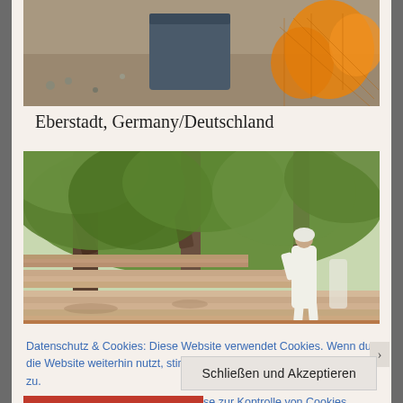[Figure (photo): Partial photo at top showing ground/gravel with what appears to be a container and orange/yellow fruits in mesh netting]
Eberstadt, Germany/Deutschland
[Figure (photo): Outdoor scene with large olive or similar trees lining wide stone steps. A person in white robes walks up the steps. Sunny, arid-looking landscape.]
Datenschutz & Cookies: Diese Website verwendet Cookies. Wenn du die Website weiterhin nutzt, stimmst du der Verwendung von Cookies zu.
Weitere Informationen, beispielsweise zur Kontrolle von Cookies, findest du hier:
Cookie-Richtlinie
Schließen und Akzeptieren